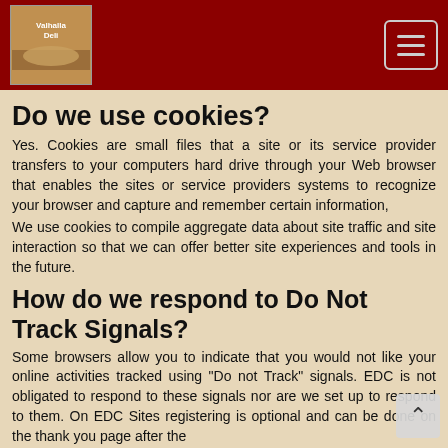Valhalla Deli
Do we use cookies?
Yes. Cookies are small files that a site or its service provider transfers to your computers hard drive through your Web browser that enables the sites or service providers systems to recognize your browser and capture and remember certain information,
We use cookies to compile aggregate data about site traffic and site interaction so that we can offer better site experiences and tools in the future.
How do we respond to Do Not Track Signals?
Some browsers allow you to indicate that you would not like your online activities tracked using "Do not Track" signals. EDC is not obligated to respond to these signals nor are we set up to respond to them. On EDC Sites registering is optional and can be done on the thank you page after the